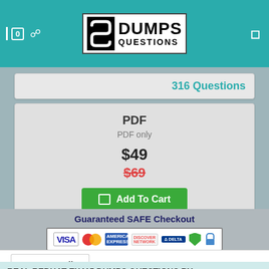[Figure (logo): DumpsQuestions logo with stylized S icon on teal header bar]
316 Questions
PDF
PDF only
$49
$69
Add To Cart
[Figure (infographic): Guaranteed SAFE Checkout banner with payment icons: VISA, MasterCard, American Express, Discover, Delta, security shield, padlock]
Exam Details
REAL REDHAT EX415 DUMPS QUESTIONS BY